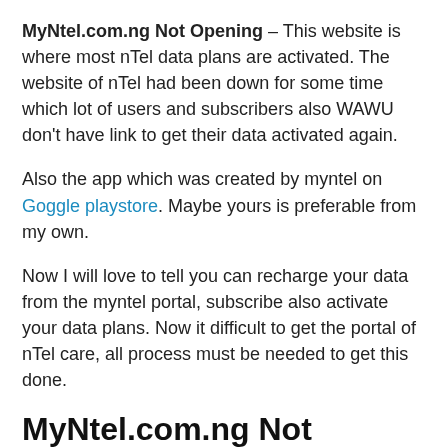MyNtel.com.ng Not Opening – This website is where most nTel data plans are activated. The website of nTel had been down for some time which lot of users and subscribers also WAWU don't have link to get their data activated again.
Also the app which was created by myntel on Goggle playstore. Maybe yours is preferable from my own.
Now I will love to tell you can recharge your data from the myntel portal, subscribe also activate your data plans. Now it difficult to get the portal of nTel care, all process must be needed to get this done.
MyNtel.com.ng Not Opening | About mynTel portal
This website has been lot of problem in getting for so long